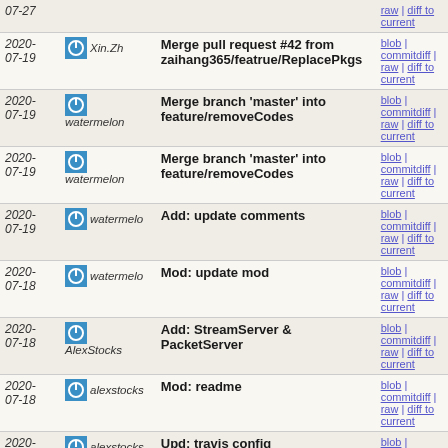| Date | Author | Message | Links |
| --- | --- | --- | --- |
| 2020-07-19 | Xin.Zh | Merge pull request #42 from zaihang365/featrue/ReplacePkgs | blob | commitdiff | raw | diff to current |
| 2020-07-19 | watermelon | Merge branch 'master' into feature/removeCodes | blob | commitdiff | raw | diff to current |
| 2020-07-19 | watermelon | Merge branch 'master' into feature/removeCodes | blob | commitdiff | raw | diff to current |
| 2020-07-19 | watermelo | Add: update comments | blob | commitdiff | raw | diff to current |
| 2020-07-18 | watermelo | Mod: update mod | blob | commitdiff | raw | diff to current |
| 2020-07-18 | AlexStocks | Add: StreamServer & PacketServer | blob | commitdiff | raw | diff to current |
| 2020-07-18 | alexstocks | Mod: readme | blob | commitdiff | raw | diff to current |
| 2020-07-18 | alexstocks | Upd: travis config | blob | commitdiff | raw | diff to current |
| 2020-07-18 | yuyu | Rem: utils | blob | commitdiff | raw | diff to current |
| 2020-07-18 | AlexStocks | Rem: utils | blob | commitdiff | raw | diff to current |